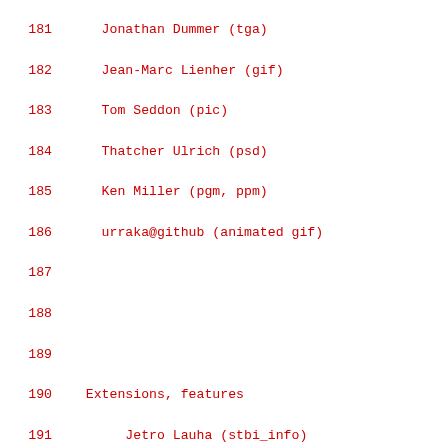181    Jonathan Dummer (tga)
182    Jean-Marc Lienher (gif)
183    Tom Seddon (pic)
184    Thatcher Ulrich (psd)
185    Ken Miller (pgm, ppm)
186    urraka@github (animated gif)
187
188
189
190    Extensions, features
191        Jetro Lauha (stbi_info)
192        Martin "SpartanJ" Golini (stbi_info)
193        James "moose2000" Brown (iPhone PNG)
194        Ben "Disch" Wenger (io callbacks)
195        Omar Cornut (1/2/4-bit PNG)
196        Nicolas Guillemot (vertical flip)
197        Richard Mitton (16-bit PSD)
198
199
200
201